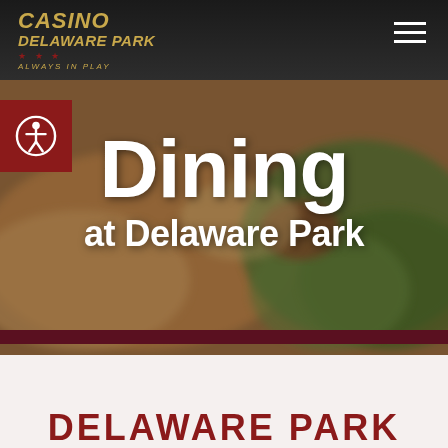Casino Delaware Park — Always in Play
[Figure (photo): Blurred food photo showing a grilled sandwich/wrap with fresh green salad on a wooden board, serving as a background hero image for the Dining at Delaware Park section]
Dining at Delaware Park
DELAWARE PARK